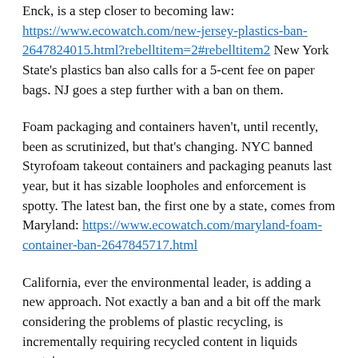Enck, is a step closer to becoming law: https://www.ecowatch.com/new-jersey-plastics-ban-2647824015.html?rebelltitem=2#rebelltitem2 New York State's plastics ban also calls for a 5-cent fee on paper bags. NJ goes a step further with a ban on them.
Foam packaging and containers haven't, until recently, been as scrutinized, but that's changing. NYC banned Styrofoam takeout containers and packaging peanuts last year, but it has sizable loopholes and enforcement is spotty. The latest ban, the first one by a state, comes from Maryland: https://www.ecowatch.com/maryland-foam-container-ban-2647845717.html
California, ever the environmental leader, is adding a new approach. Not exactly a ban and a bit off the mark considering the problems of plastic recycling, is incrementally requiring recycled content in liquids containers: https://www.mercurynews.com/2020/09/25/california-passes...